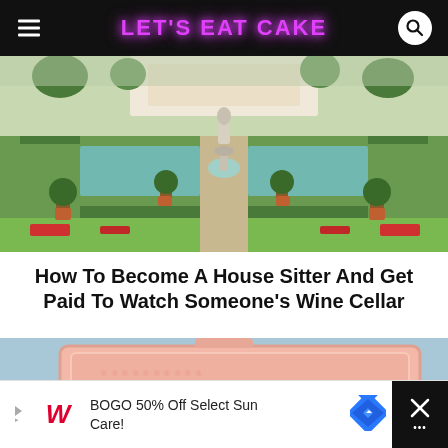LET'S EAT CAKE
[Figure (photo): Aerial view of a formal Italian garden with manicured hedges, pools, fountains, potted trees, and a large pink villa in the background]
How To Become A House Sitter And Get Paid To Watch Someone's Wine Cellar
[Figure (photo): Open pink luggage suitcase with clothing, sunglasses, and accessories packed inside, on a light blue background]
BOGO 50% Off Select Sun Care!